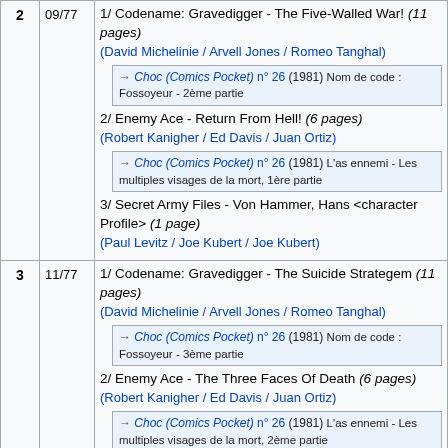| # | Date | Contents |
| --- | --- | --- |
| 2 | 09/77 | 1/ Codename: Gravedigger - The Five-Walled War! (11 pages)
(David Michelinie / Arvell Jones / Romeo Tanghal)
→ Choc (Comics Pocket) n° 26 (1981) Nom de code : Fossoyeur - 2ème partie
2/ Enemy Ace - Return From Hell! (6 pages)
(Robert Kanigher / Ed Davis / Juan Ortiz)
→ Choc (Comics Pocket) n° 26 (1981) L'as ennemi - Les multiples visages de la mort, 1ère partie
3/ Secret Army Files - Von Hammer, Hans <character Profile> (1 page)
(Paul Levitz / Joe Kubert / Joe Kubert) |
| 3 | 11/77 | 1/ Codename: Gravedigger - The Suicide Strategem (11 pages)
(David Michelinie / Arvell Jones / Romeo Tanghal)
→ Choc (Comics Pocket) n° 26 (1981) Nom de code : Fossoyeur - 3ème partie
2/ Enemy Ace - The Three Faces Of Death (6 pages)
(Robert Kanigher / Ed Davis / Juan Ortiz)
→ Choc (Comics Pocket) n° 26 (1981) L'as ennemi - Les multiples visages de la mort, 2ème partie |
| 4 | 01/78 | 1/ Codename: Gravedigger - Trial By Fire (11 pages)
(David Michelinie / Dick Ayers / Romeo Tanghal)
→ Choc (Comics Pocket) n° 26 (1981) Nom de code : Fossoyeur - 4ème partie
2/ Dateline: Frontline (6 pages)
(Cary Burkett / Jerry Grandenetti / Jerry Grandenetti) |